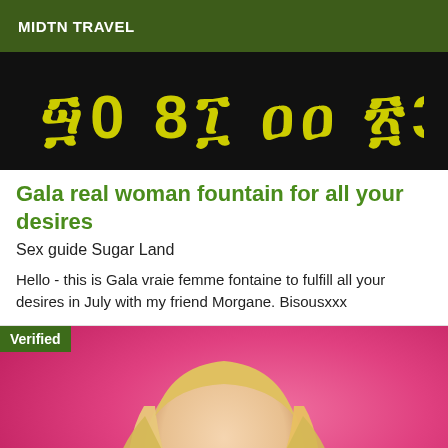MIDTN TRAVEL
[Figure (photo): Black background with yellow Ethiopic script characters]
Gala real woman fountain for all your desires
Sex guide Sugar Land
Hello - this is Gala vraie femme fontaine to fulfill all your desires in July with my friend Morgane. Bisousxxx
[Figure (photo): Blonde woman on pink/magenta background with Verified badge overlay]